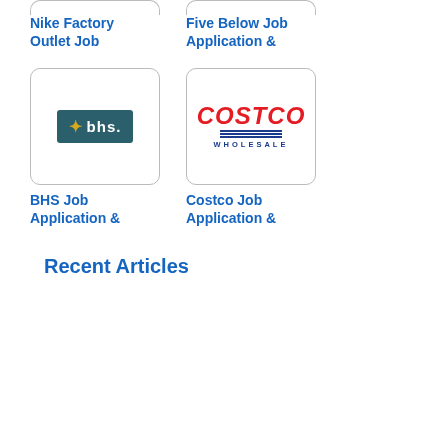[Figure (other): Partial top of a card for Nike Factory Outlet Job Application]
Nike Factory Outlet Job
[Figure (other): Partial top of a card for Five Below Job Application]
Five Below Job Application &
[Figure (logo): BHS logo — gold star and 'bhs.' text on teal background inside a rounded card box]
BHS Job Application &
[Figure (logo): Costco Wholesale logo in red italic text with blue lines inside a rounded card box]
Costco Job Application &
Recent Articles